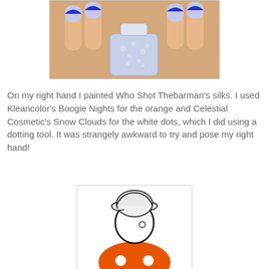[Figure (photo): Close-up photo of nails painted with blue tips and a light periwinkle/grey base, holding a nail polish bottle with a light blue/grey lacquer]
On my right hand I painted Who Shot Thebarman's silks. I used Kleancolor's Boogie Nights for the orange and Celestial Cosmetic's Snow Clouds for the white dots, which I did using a dotting tool. It was strangely awkward to try and pose my right hand!
[Figure (illustration): Cartoon illustration of a faceless person wearing a white baseball cap, glasses, and an orange shirt with white dots/polka dots]